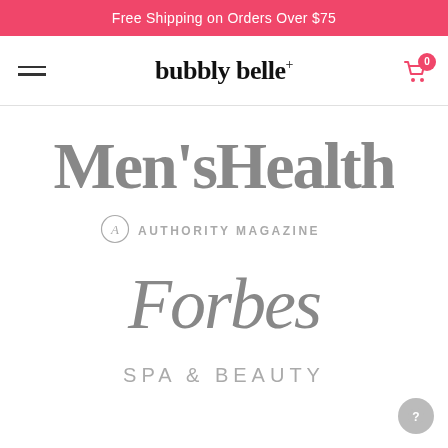Free Shipping on Orders Over $75
[Figure (logo): Bubbly Belle brand logo with hamburger menu and cart icon showing 0 items]
[Figure (logo): Men's Health magazine logo in gray serif font]
[Figure (logo): Authority Magazine logo with circular 'A' emblem and uppercase text]
[Figure (logo): Forbes magazine logo in gray italic serif font]
[Figure (logo): Spa & Beauty magazine/brand logo in gray uppercase letters]